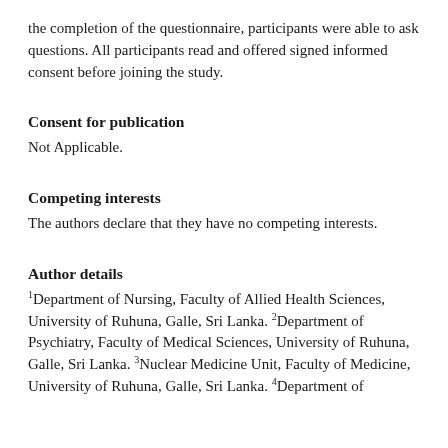the completion of the questionnaire, participants were able to ask questions. All participants read and offered signed informed consent before joining the study.
Consent for publication
Not Applicable.
Competing interests
The authors declare that they have no competing interests.
Author details
1Department of Nursing, Faculty of Allied Health Sciences, University of Ruhuna, Galle, Sri Lanka. 2Department of Psychiatry, Faculty of Medical Sciences, University of Ruhuna, Galle, Sri Lanka. 3Nuclear Medicine Unit, Faculty of Medicine, University of Ruhuna, Galle, Sri Lanka. 4Department of